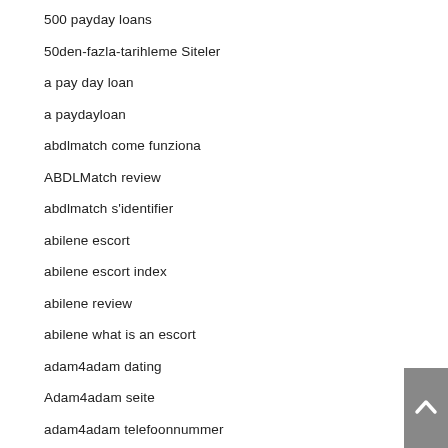500 payday loans
50den-fazla-tarihleme Siteler
a pay day loan
a paydayloan
abdlmatch come funziona
ABDLMatch review
abdlmatch s'identifier
abilene escort
abilene escort index
abilene review
abilene what is an escort
adam4adam dating
Adam4adam seite
adam4adam telefoonnummer
adam4adam visitors